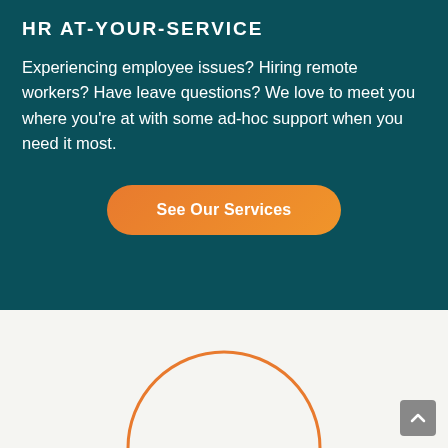HR AT-YOUR-SERVICE
Experiencing employee issues? Hiring remote workers? Have leave questions? We love to meet you where you're at with some ad-hoc support when you need it most.
[Figure (other): Orange rounded rectangle button labeled 'See Our Services']
[Figure (other): Top arc of a large orange circle emerging from the bottom section of the page, with a scroll-to-top button in the bottom right corner]